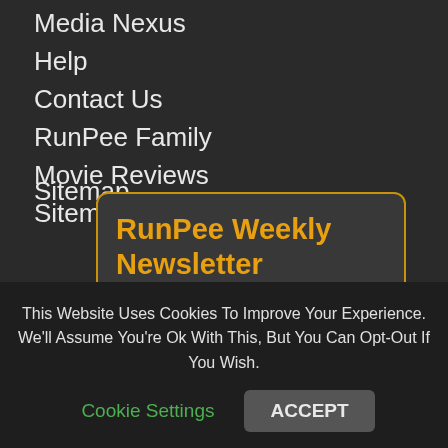Media Nexus
Help
Contact Us
RunPee Family
Movie Reviews
Sitemap
RunPee Weekly Newsletter
Add Your Email Below To Get Our Newsletter
* Upcoming Movies This Week
* Movie Reviews From Previous Week
This Website Uses Cookies To Improve Your Experience. We'll Assume You're Ok With This, But You Can Opt-Out If You Wish.
Cookie Settings   ACCEPT